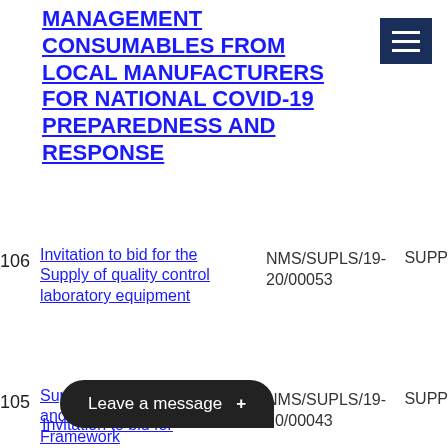MANAGEMENT CONSUMABLES FROM LOCAL MANUFACTURERS FOR NATIONAL COVID-19 PREPAREDNESS AND RESPONSE
106  Invitation to bid for the Supply of quality control laboratory equipment  NMS/SUPLS/19-20/00053  SUPP
105  Supply of NMS Magazines and Brochures on a 3 Year Framework  NMS/SUPLS/19-20/00043  SUPP
Invitation to bid for